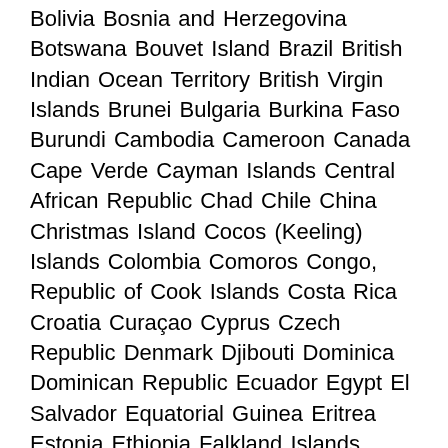Bolivia Bosnia and Herzegovina Botswana Bouvet Island Brazil British Indian Ocean Territory British Virgin Islands Brunei Bulgaria Burkina Faso Burundi Cambodia Cameroon Canada Cape Verde Cayman Islands Central African Republic Chad Chile China Christmas Island Cocos (Keeling) Islands Colombia Comoros Congo, Republic of Cook Islands Costa Rica Croatia Curaçao Cyprus Czech Republic Denmark Djibouti Dominica Dominican Republic Ecuador Egypt El Salvador Equatorial Guinea Eritrea Estonia Ethiopia Falkland Islands (Malvinas) Faroe Islands Fiji Finland France French Guiana French Polynesia French Southern Territories Gabon Gambia Georgia Germany Ghana Gibraltar Greece Greenland Grenada Guadeloupe Guam Guatemala Guinea Guinea-Bissau Guyana Haiti Heard Island and McDonald Islands Holy See (Vatican City State) Honduras Hong Kong Hungary Iceland India Indonesia Iraq Ireland Isle of Man Israel Italy Ivory